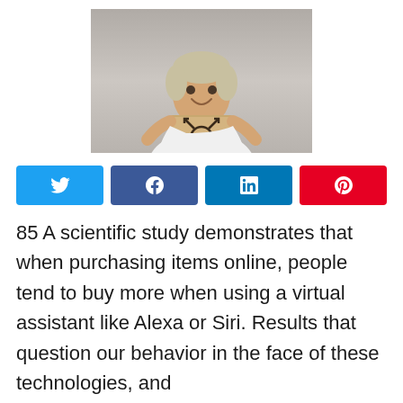[Figure (photo): A young person with short light hair, wearing a white t-shirt, smiling and holding a cardboard sign with a transgender symbol drawn on it, against a gray background.]
[Figure (infographic): A row of four social sharing buttons: Twitter (blue), Facebook (dark blue), LinkedIn (medium blue), Pinterest (red), each with their respective icons.]
85 A scientific study demonstrates that when purchasing items online, people tend to buy more when using a virtual assistant like Alexa or Siri. Results that question our behavior in the face of these technologies, and